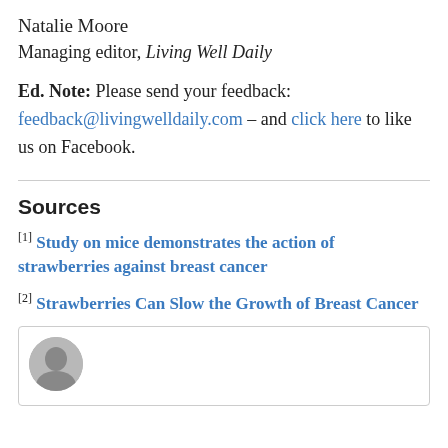Natalie Moore
Managing editor, Living Well Daily
Ed. Note: Please send your feedback: feedback@livingwelldaily.com – and click here to like us on Facebook.
Sources
[1] Study on mice demonstrates the action of strawberries against breast cancer
[2] Strawberries Can Slow the Growth of Breast Cancer
[Figure (photo): Circular avatar photo of a woman, partially visible at the bottom of the page inside a bordered box]